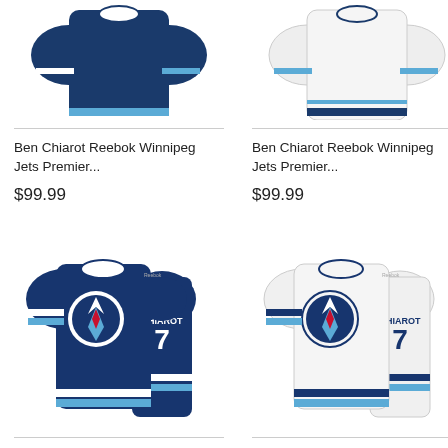[Figure (photo): Ben Chiarot Reebok Winnipeg Jets dark navy jersey - top portion cropped]
[Figure (photo): Ben Chiarot Reebok Winnipeg Jets white jersey - top portion cropped]
Ben Chiarot Reebok Winnipeg Jets Premier...
$99.99
Ben Chiarot Reebok Winnipeg Jets Premier...
$99.99
[Figure (photo): Ben Chiarot #7 Reebok Winnipeg Jets navy blue Premier jersey, front and back view]
[Figure (photo): Ben Chiarot #7 Reebok Winnipeg Jets white Premier jersey, front and back view]
Ben Chiarot Reebok Winnipeg...
Ben Chiarot Reebok Winnipeg...